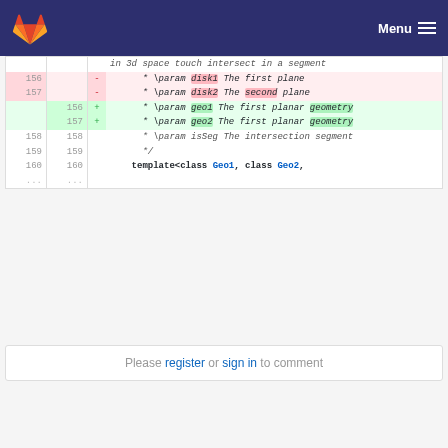Menu
[Figure (screenshot): GitLab diff view showing code changes for param disk1/disk2 renamed to geo1/geo2 in C++ template code]
Please register or sign in to comment